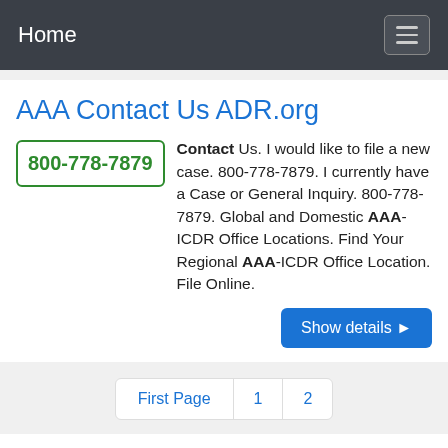Home
AAA Contact Us ADR.org
Contact Us. I would like to file a new case. 800-778-7879. I currently have a Case or General Inquiry. 800-778-7879. Global and Domestic AAA-ICDR Office Locations. Find Your Regional AAA-ICDR Office Location. File Online.
Show details ▶
First Page  1  2
Please leave your comments here:
Please enter the Title